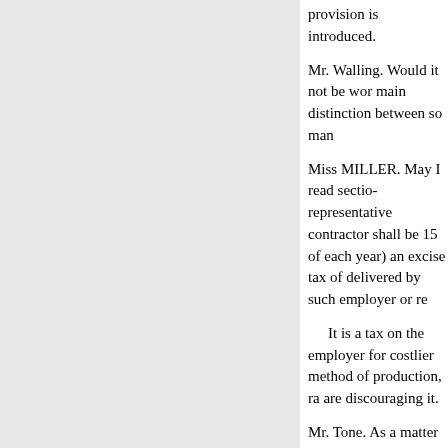provision is introduced.
Mr. Walling. Would it not be wor— main distinction between so man—
Miss MILLER. May I read sectio— representative contractor shall be— 15 of each year) an excise tax of— delivered by such employer or re—
It is a tax on the employer for— costlier method of production, ra— are discouraging it.
Mr. Tone. As a matter of politica— with these long bills? You hand a— with a short bill.
Miss MURPHY. May I say that t— forth, are relatively short. The tax— may already have the proper mac— for the collection of taxes of this— you will find the provisions in w— which home workers perform are—
Mr. MagnusSON (Washington, D— principle, in policy and practice,—